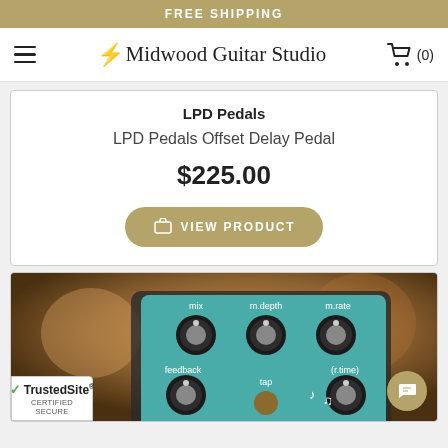FREE SHIPPING
Midwood Guitar Studio
LPD Pedals
LPD Pedals Offset Delay Pedal
$225.00
VIEW PRODUCT
[Figure (photo): Close-up photo of a teal/turquoise guitar effects pedal (LPD Pedals Offset Delay Pedal) with knobs labeled mix, m.depth, m.rate, feedback, tap, and (r.time), on a blurred warm-toned background.]